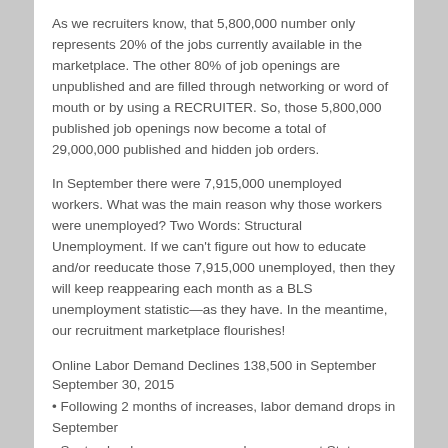As we recruiters know, that 5,800,000 number only represents 20% of the jobs currently available in the marketplace. The other 80% of job openings are unpublished and are filled through networking or word of mouth or by using a RECRUITER. So, those 5,800,000 published job openings now become a total of 29,000,000 published and hidden job orders.
In September there were 7,915,000 unemployed workers. What was the main reason why those workers were unemployed? Two Words: Structural Unemployment. If we can't figure out how to educate and/or reeducate those 7,915,000 unemployed, then they will keep reappearing each month as a BLS unemployment statistic—as they have. In the meantime, our recruitment marketplace flourishes!
Online Labor Demand Declines 138,500 in September September 30, 2015
• Following 2 months of increases, labor demand drops in September
• September losses were spread across most States
• US Supply/Demand rate continues to improve as demand